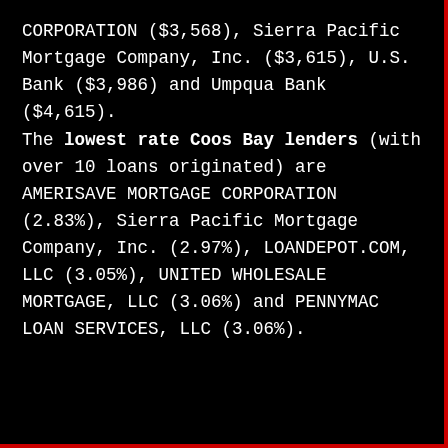CORPORATION ($3,568), Sierra Pacific Mortgage Company, Inc. ($3,615), U.S. Bank ($3,986) and Umpqua Bank ($4,615).
The lowest rate Coos Bay lenders (with over 10 loans originated) are AMERISAVE MORTGAGE CORPORATION (2.83%), Sierra Pacific Mortgage Company, Inc. (2.97%), LOANDEPOT.COM, LLC (3.05%), UNITED WHOLESALE MORTGAGE, LLC (3.06%) and PENNYMAC LOAN SERVICES, LLC (3.06%).